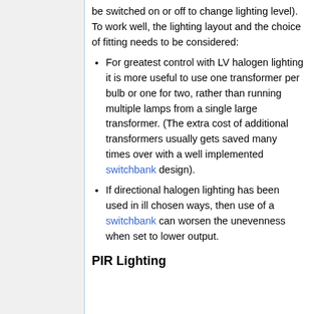be switched on or off to change lighting level). To work well, the lighting layout and the choice of fitting needs to be considered:
For greatest control with LV halogen lighting it is more useful to use one transformer per bulb or one for two, rather than running multiple lamps from a single large transformer. (The extra cost of additional transformers usually gets saved many times over with a well implemented switchbank design).
If directional halogen lighting has been used in ill chosen ways, then use of a switchbank can worsen the unevenness when set to lower output.
PIR Lighting